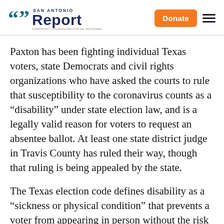San Antonio Report — Donate | Menu
Paxton has been fighting individual Texas voters, state Democrats and civil rights organizations who have asked the courts to rule that susceptibility to the coronavirus counts as a “disability” under state election law, and is a legally valid reason for voters to request an absentee ballot. At least one state district judge in Travis County has ruled their way, though that ruling is being appealed by the state.
The Texas election code defines disability as a “sickness or physical condition” that prevents a voter from appearing in person without the risk of “injuring the voter’s health.” Travis County District Judge TimSulak ruled lack of immunity to the virus